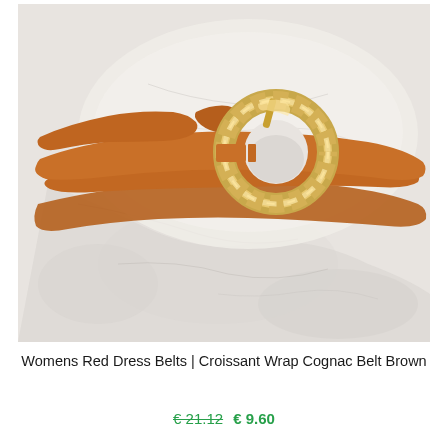[Figure (photo): A cognac/brown leather wrap belt with a gold croissant-style ring buckle, coiled on a marble surface. The belt is thin, tan-brown leather with a shiny gold twisted ring buckle.]
Womens Red Dress Belts | Croissant Wrap Cognac Belt Brown
€ 21.12 € 9.60